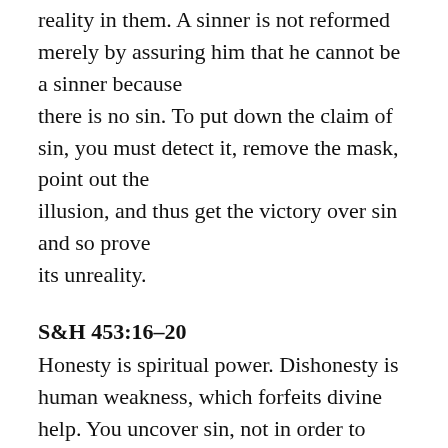reality in them. A sinner is not reformed merely by assuring him that he cannot be a sinner because there is no sin. To put down the claim of sin, you must detect it, remove the mask, point out the illusion, and thus get the victory over sin and so prove its unreality.
S&H 453:16–20
Honesty is spiritual power. Dishonesty is human weakness, which forfeits divine help. You uncover sin, not in order to injure, but in order to bless the corporeal man; and a right motive